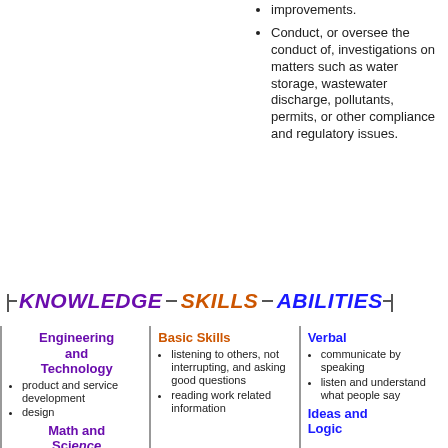improvements.
Conduct, or oversee the conduct of, investigations on matters such as water storage, wastewater discharge, pollutants, permits, or other compliance and regulatory issues.
KNOWLEDGE  SKILLS  ABILITIES
Engineering and Technology
product and service development
design
Math and Science
Basic Skills
listening to others, not interrupting, and asking good questions
reading work related information
Verbal
communicate by speaking
listen and understand what people say
Ideas and Logic